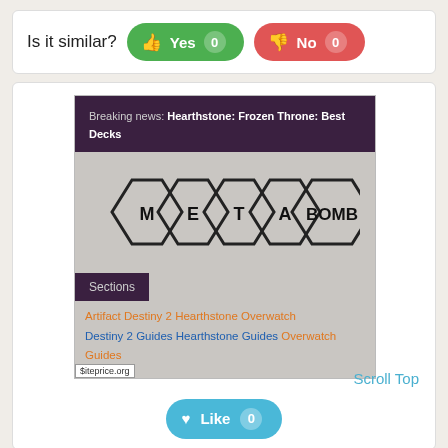Is it similar?  Yes 0  No 0
[Figure (screenshot): Screenshot of metabomb.net website showing purple header with breaking news about Hearthstone: Frozen Throne: Best Decks, METABOMB logo, Sections navigation, and links to Artifact, Destiny 2, Hearthstone, Overwatch sections]
Scroll Top
♥ Like 0
Mb  metabomb.net  ↗
metabomb - esports news and guides
metabomb brings you the latest news, guides and